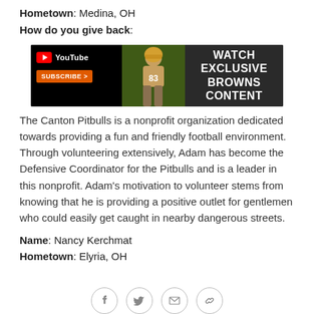Hometown: Medina, OH
How do you give back:
[Figure (screenshot): YouTube banner advertisement: YouTube logo with Subscribe button on left, football player image in center, 'WATCH EXCLUSIVE BROWNS CONTENT' text on right dark background]
The Canton Pitbulls is a nonprofit organization dedicated towards providing a fun and friendly football environment. Through volunteering extensively, Adam has become the Defensive Coordinator for the Pitbulls and is a leader in this nonprofit. Adam’s motivation to volunteer stems from knowing that he is providing a positive outlet for gentlemen who could easily get caught in nearby dangerous streets.
Name: Nancy Kerchmat
Hometown: Elyria, OH
[Figure (other): Social media share icons: Facebook, Twitter, Email, Link]